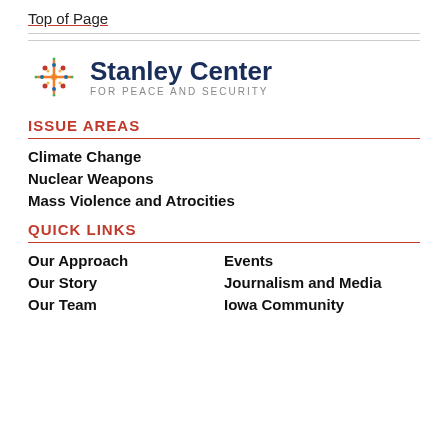Top of Page
[Figure (logo): Stanley Center for Peace and Security logo with colorful starburst icon]
ISSUE AREAS
Climate Change
Nuclear Weapons
Mass Violence and Atrocities
QUICK LINKS
Our Approach
Events
Our Story
Journalism and Media
Our Team
Iowa Community